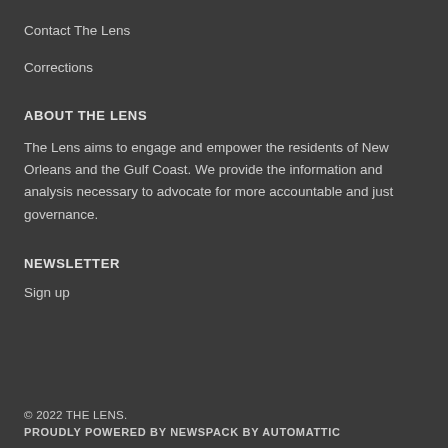Contact The Lens
Corrections
ABOUT THE LENS
The Lens aims to engage and empower the residents of New Orleans and the Gulf Coast. We provide the information and analysis necessary to advocate for more accountable and just governance.
NEWSLETTER
Sign up
© 2022 THE LENS.
PROUDLY POWERED BY NEWSPACK BY AUTOMATTIC